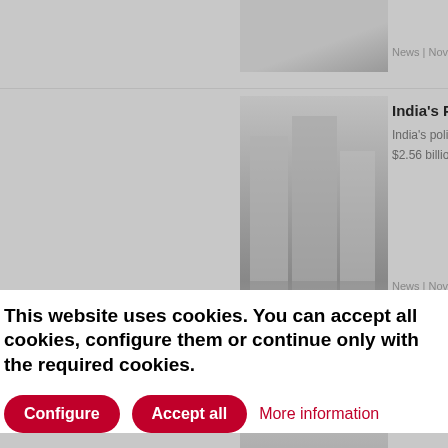[Figure (photo): Thumbnail of a news article at top, partially visible]
News | Nov 30
India's Polis
India's polished... $2.56 billion in
News | Nov 30
[Figure (photo): Photo of modern buildings/urban area]
Belgium Po
Belgium has r... increase in po... 32% year
[Figure (photo): Photo of people walking on a street/plaza]
This website uses cookies. You can accept all cookies, configure them or continue only with the required cookies.
Configure
Accept all
More information